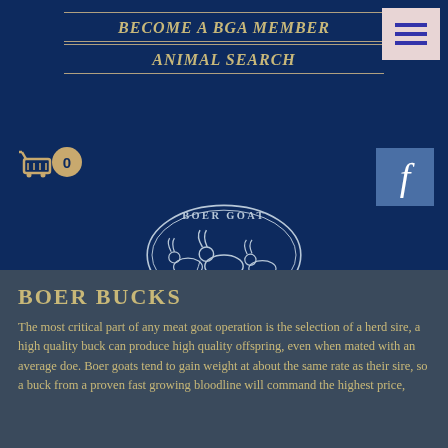BECOME A BGA MEMBER
ANIMAL SEARCH
[Figure (logo): Boer Goat Australia oval logo with illustration of goats]
BOER BUCKS
The most critical part of any meat goat operation is the selection of a herd sire, a high quality buck can produce high quality offspring, even when mated with an average doe. Boer goats tend to gain weight at about the same rate as their sire, so a buck from a proven fast growing bloodline will command the highest price,